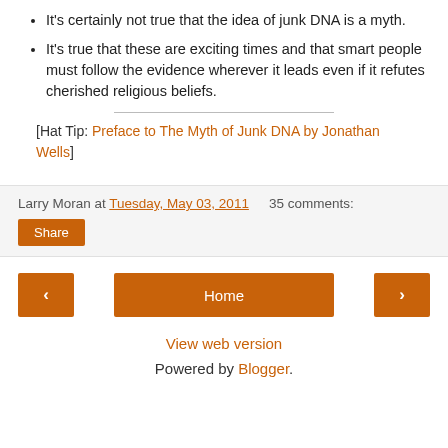It's certainly not true that the idea of junk DNA is a myth.
It's true that these are exciting times and that smart people must follow the evidence wherever it leads even if it refutes cherished religious beliefs.
[Hat Tip: Preface to The Myth of Junk DNA by Jonathan Wells]
Larry Moran at Tuesday, May 03, 2011   35 comments:
Share
< Home >
View web version
Powered by Blogger.